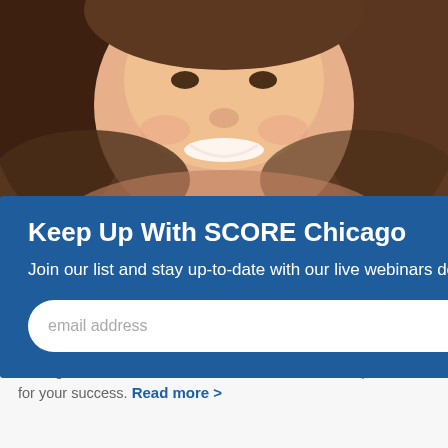[Figure (photo): Close-up photo of a smiling woman with brown/blonde hair against a warm background]
icle
S
he a eer >
Keep Up With SCORE Chicago
Join our list and stay up-to-date with our live webinars designed to help you start and grow a successful business.
email address
SUBMIT
Media and Featured Business Owner at SCORE Chicago this week. Learn how she started and what tips she has for your success. Read more >